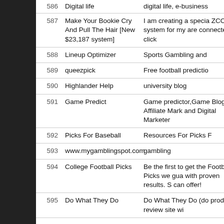| # | Name | Description |
| --- | --- | --- |
| 586 | Digital life | digital life, e-business |
| 587 | Make Your Bookie Cry And Pull The Hair [New $23,187 system] | I am creating a special ZCODE system for my are connected to click |
| 588 | Lineup Optimizer | Sports Gambling and |
| 589 | queezpick | Free football predictio |
| 590 | Highlander Help | university blog |
| 591 | Game Predict | Game predictor,Game Blogger, Affiliate Mark and Digital Marketer |
| 592 | Picks For Baseball | Resources For Picks F |
| 593 | www.mygamblingspot.com | gambling |
| 594 | College Football Picks | Be the first to get the Football Picks we gua with proven results. S can offer! |
| 595 | Do What They Do | Do What They Do (do product review site wi |